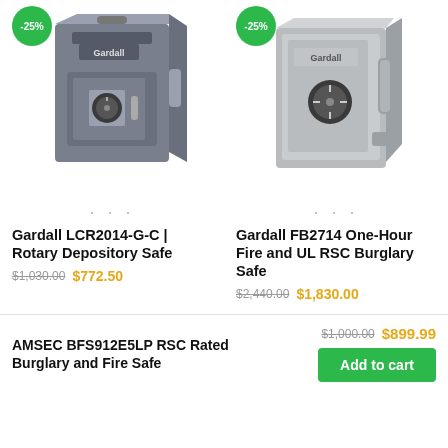[Figure (photo): Gardall LCR2014-G-C rotary depository safe, dark gray, with combination lock and deposit slot, -25% discount badge]
[Figure (photo): Gardall FB2714 one-hour fire and UL RSC burglary safe, light gray, with combination dial and handle, -25% discount badge]
Gardall LCR2014-G-C | Rotary Depository Safe
$1,030.00  $772.50
Gardall FB2714 One-Hour Fire and UL RSC Burglary Safe
$2,440.00  $1,830.00
AMSEC BFS912E5LP RSC Rated Burglary and Fire Safe
$1,000.00  $899.99
Add to cart